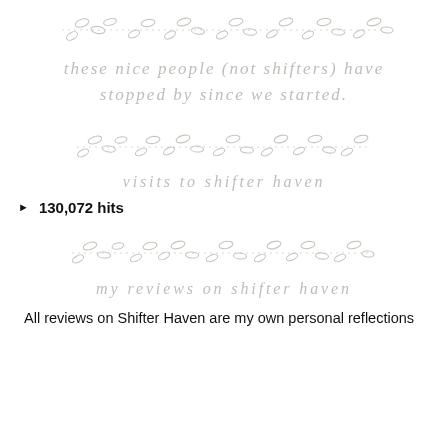[Figure (illustration): Decorative divider made of small oval leaf/seed shapes connected by dotted lines]
these nice people (not shifters) have stopped by since we started.
[Figure (illustration): Decorative divider made of small oval leaf/seed shapes connected by dotted lines]
visits to shifter haven
130,072 hits
[Figure (illustration): Decorative divider made of small oval leaf/seed shapes connected by dotted lines]
my reviews on shifter haven
All reviews on Shifter Haven are my own personal reflections